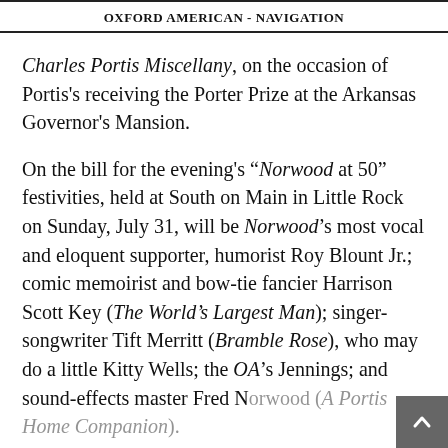OXFORD AMERICAN - NAVIGATION
Charles Portis Miscellany, on the occasion of Portis's receiving the Porter Prize at the Arkansas Governor's Mansion.
On the bill for the evening's “Norwood at 50” festivities, held at South on Main in Little Rock on Sunday, July 31, will be Norwood’s most vocal and eloquent supporter, humorist Roy Blount Jr.; comic memoirist and bow-tie fancier Harrison Scott Key (The World’s Largest Man); singer-songwriter Tift Merritt (Bramble Rose), who may do a little Kitty Wells; the OA’s Jennings; and sound-effects master Fred Norwood (A Portis Home Companion).